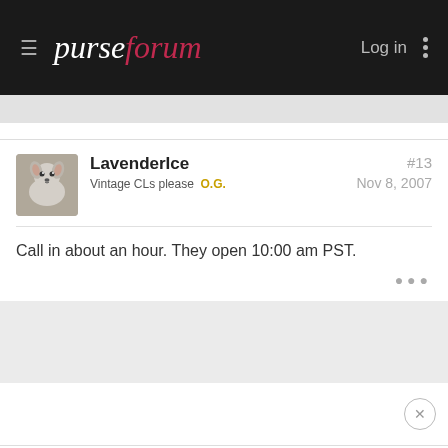purseforum — Log in
LavenderIce
Vintage CLs please  O.G.
#13
Nov 8, 2007
Call in about an hour. They open 10:00 am PST.
Elise
#14